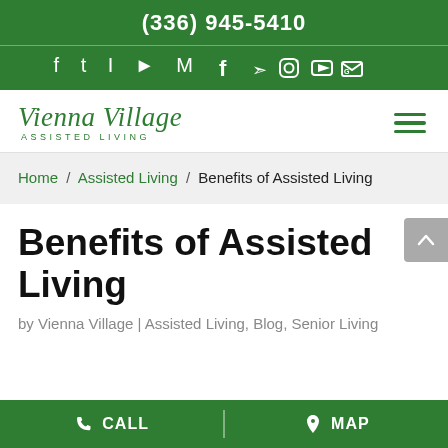(336) 945-5410
[Figure (logo): Social media icons: Facebook, Twitter, Instagram, YouTube, Google]
[Figure (logo): Vienna Village Assisted Living logo with hamburger menu icon]
Home / Assisted Living / Benefits of Assisted Living
Benefits of Assisted Living
by Vienna Village | Assisted Living, Blog, Senior Living
CALL   MAP